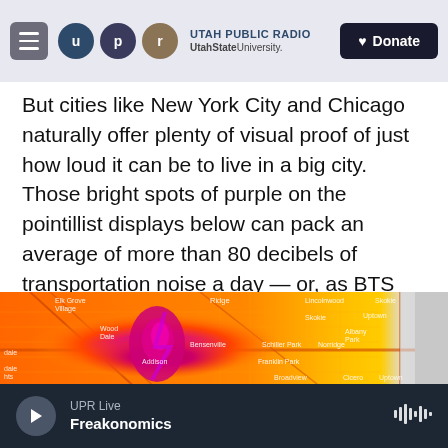Utah Public Radio — UtahState University — Donate
But cities like New York City and Chicago naturally offer plenty of visual proof of just how loud it can be to live in a big city. Those bright spots of purple on the pointillist displays below can pack an average of more than 80 decibels of transportation noise a day — or, as BTS puts it, about as much noise as a garbage disposal.
[Figure (map): Heat map of transportation noise levels around Chicago area, showing bright pink/purple hotspots along major transportation corridors, surrounded by orange and yellow gradient indicating varying noise levels. Map labels include neighborhoods and areas such as Elk Grove Village, Ridge, Lincolnwood, Skokie, Wood Dale, Albany Park, Bensenville, Schiller Park, Norridge, Addison, Franklin Park, Broadview, Cicero, Elmhurst, Stone Park, Uptown.]
UPR Live — Freakonomics